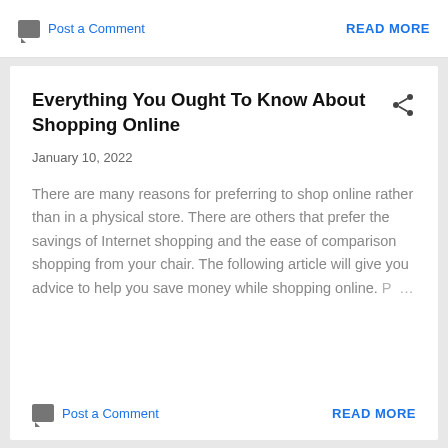Post a Comment   READ MORE
Everything You Ought To Know About Shopping Online
January 10, 2022
There are many reasons for preferring to shop online rather than in a physical store. There are others that prefer the savings of Internet shopping and the ease of comparison shopping from your chair. The following article will give you advice to help you save money while shopping online. P…
Post a Comment   READ MORE